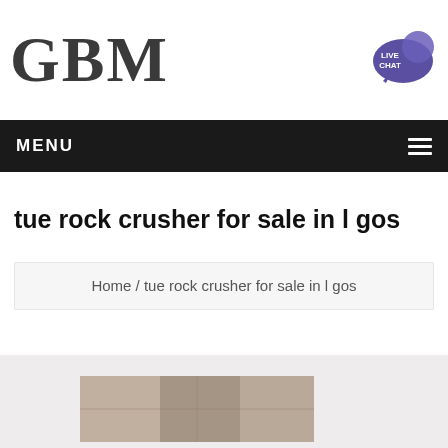GBM
[Figure (illustration): Live Chat speech bubble icon in purple/blue]
MENU
tue rock crusher for sale in l gos
Home / tue rock crusher for sale in l gos
[Figure (photo): Partially visible photo of rock crusher machinery]